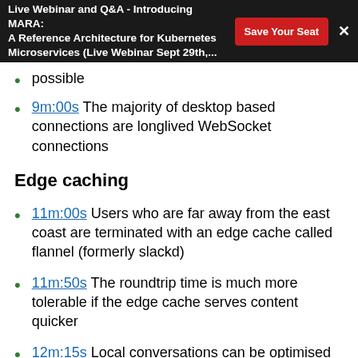Live Webinar and Q&A - Introducing MARA: A Reference Architecture for Kubernetes Microservices (Live Webinar Sept 29th,... | Save Your Seat | ×
possible
9m:00s The majority of desktop based connections are longlived WebSocket connections
Edge caching
11m:00s Users who are far away from the east coast are terminated with an edge cache called flannel (formerly slackd)
11m:50s The roundtrip time is much more tolerable if the edge cache serves content quicker
12m:15s Local conversations can be optimised with the edge cache